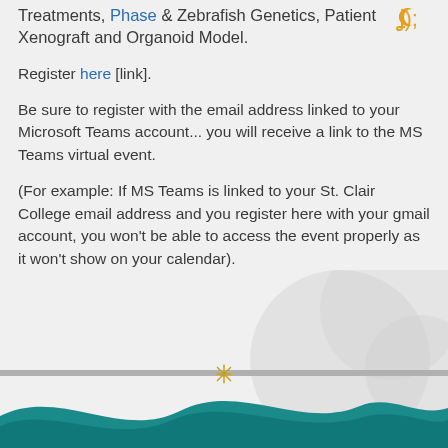Treatments, Phase & Zebrafish Genetics, Patient Xenograft and Organoid Model.
Register here [link].
Be sure to register with the email address linked to your Microsoft Teams account... you will receive a link to the MS Teams virtual event.
(For example: If MS Teams is linked to your St. Clair College email address and you register here with your gmail account, you won't be able to access the event properly as it won't show on your calendar).
[Figure (illustration): Teal wave decorative footer with a small snowflake/star icon above it]